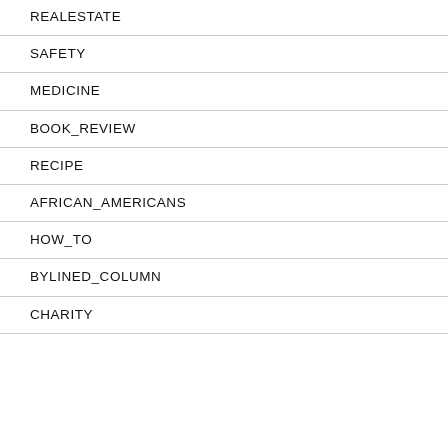REALESTATE
SAFETY
MEDICINE
BOOK_REVIEW
RECIPE
AFRICAN_AMERICANS
HOW_TO
BYLINED_COLUMN
CHARITY